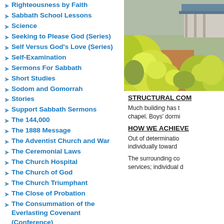Righteousness by Faith
Sabbath School Lessons
Science
Seeking to Please God (Series)
Self Versus God's Love (Series)
Self-Examination
Sermons For Sabbath
Short Studies
Sodom and Gomorrah
Stories
Support Sabbath Sermons
The 144,000
The 1888 Message
The Adventist Church and War
The Ceremonial Laws
The Church Hospital
The Church of God
The Church Triumphant
The Close of Probation
The Consummation of the Everlasting Covenant (Conference)
The Day of Atonement
[Figure (photo): Outdoor photo showing lush yellow-green plants/garden with a building structure and blue corrugated roof visible in the background]
STRUCTURAL COM
Much building has t… chapel. Boys' dormi…
HOW WE ACHIEVE
Out of determinati… individually toward…
The surrounding co… services; individual d…